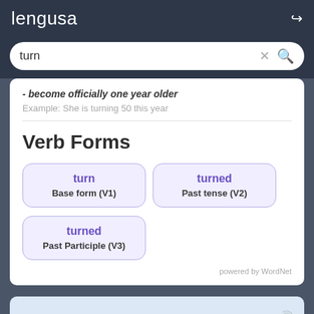lengusa
turn
- become officially one year older
Example: She is turning 50 this year
Verb Forms
turn — Base form (V1)
turned — Past tense (V2)
turned — Past Participle (V3)
powered by WordNet